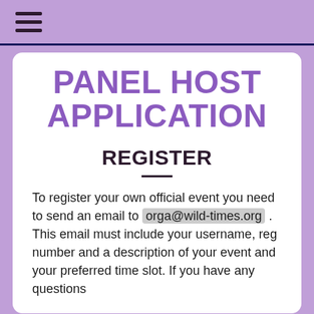☰
PANEL HOST APPLICATION
REGISTER
To register your own official event you need to send an email to orga@wild-times.org . This email must include your username, reg number and a description of your event and your preferred time slot. If you have any questions